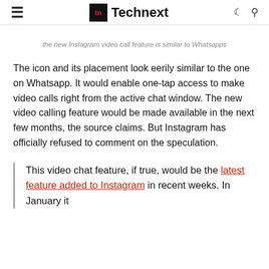Technext
the new Instagram video call feature is similar to Whatsapps
The icon and its placement look eerily similar to the one on Whatsapp. It would enable one-tap access to make video calls right from the active chat window. The new video calling feature would be made available in the next few months, the source claims. But Instagram has officially refused to comment on the speculation.
This video chat feature, if true, would be the latest feature added to Instagram in recent weeks. In January it